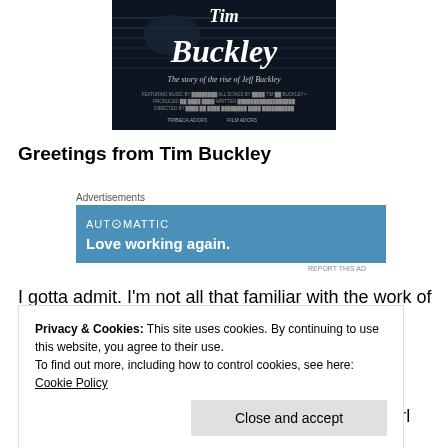[Figure (photo): Movie poster for 'Greetings from Tim Buckley' — dark background with guitar strings, stylized text reading 'Tim Buckley' and subtitle 'The story of the rise of Jeff Buckley']
Greetings from Tim Buckley
Advertisements
[Figure (screenshot): Automattic advertisement banner with blue background reading 'AUTOMATTIC — Love working again.']
REPORT THIS AD
I gotta admit. I'm not all that familiar with the work of both
Privacy & Cookies: This site uses cookies. By continuing to use this website, you agree to their use.
To find out more, including how to control cookies, see here: Cookie Policy
Close and accept
legacy and as he develops a friendship with a girl working